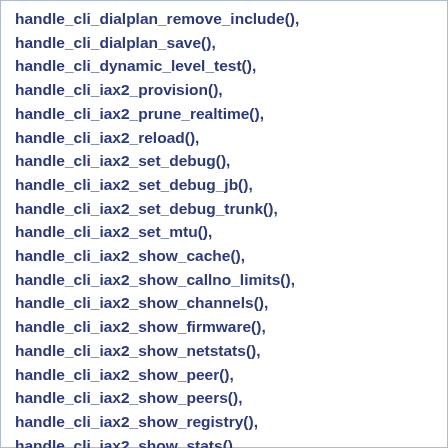handle_cli_dialplan_remove_include(), handle_cli_dialplan_save(), handle_cli_dynamic_level_test(), handle_cli_iax2_provision(), handle_cli_iax2_prune_realtime(), handle_cli_iax2_reload(), handle_cli_iax2_set_debug(), handle_cli_iax2_set_debug_jb(), handle_cli_iax2_set_debug_trunk(), handle_cli_iax2_set_mtu(), handle_cli_iax2_show_cache(), handle_cli_iax2_show_callno_limits(), handle_cli_iax2_show_channels(), handle_cli_iax2_show_firmware(), handle_cli_iax2_show_netstats(), handle_cli_iax2_show_peer(), handle_cli_iax2_show_peers(), handle_cli_iax2_show_registry(), handle_cli_iax2_show_stats(), handle_cli_iax2_show_threads(), handle_cli_iax2_show_users(), handle_cli_iax2_test_losspct(), handle_cli_iax2_unregister(), handle_cli_indication_add(), handle_cli_indication_remove(), handle_cli_indication_show(), handle_cli_keys_show(),